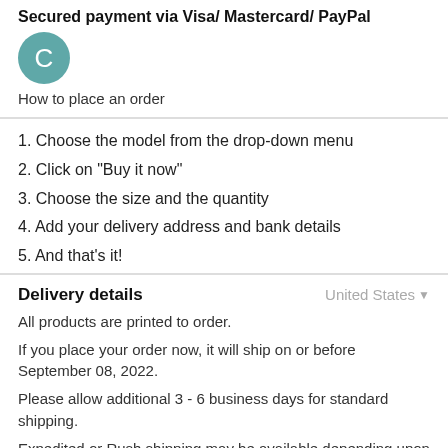Secured payment via Visa/ Mastercard/ PayPal
[Figure (illustration): Teal/green circle avatar with white letter C]
How to place an order
1. Choose the model from the drop-down menu
2. Click on "Buy it now"
3. Choose the size and the quantity
4. Add your delivery address and bank details
5. And that's it!
Delivery details
United States
All products are printed to order.
If you place your order now, it will ship on or before September 08, 2022.
Please allow additional 3 - 6 business days for standard shipping.
Expedited or Rush shipping may be available depending upon the product(s) selected and the destination country.